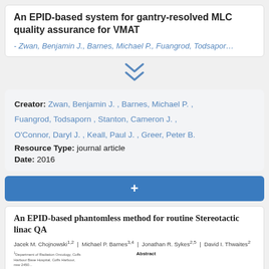An EPID-based system for gantry-resolved MLC quality assurance for VMAT
- Zwan, Benjamin J., Barnes, Michael P., Fuangrod, Todsapor...
[Figure (other): Double chevron down arrow icon in steel blue color]
Creator: Zwan, Benjamin J. , Barnes, Michael P. , Fuangrod, Todsaporn , Stanton, Cameron J. , O'Connor, Daryl J. , Keall, Paul J. , Greer, Peter B.
Resource Type: journal article
Date: 2016
[Figure (other): Blue button/bar with white plus sign]
An EPID-based phantomless method for routine Stereotactic linac QA
Jacek M. Chojnowski1,2 | Michael P. Barnes3,4 | Jonathan R. Sykes2,5 | David I. Thwaites2
1Department of Radiation Oncology, Coffs Harbour Base Hospital, Coffs Harbour, nsw 2450...
Abstract